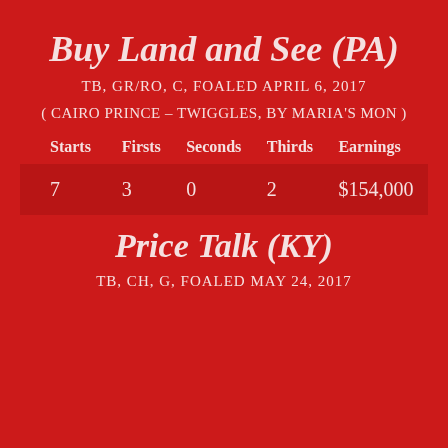Buy Land and See (PA)
TB, GR/RO, C, FOALED APRIL 6, 2017
( CAIRO PRINCE – TWIGGLES, BY MARIA'S MON )
| Starts | Firsts | Seconds | Thirds | Earnings |
| --- | --- | --- | --- | --- |
| 7 | 3 | 0 | 2 | $154,000 |
Price Talk (KY)
TB, CH, G, FOALED MAY 24, 2017